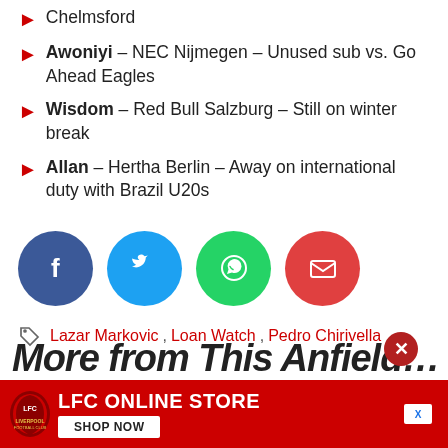Chelmsford
Awoniyi – NEC Nijmegen – Unused sub vs. Go Ahead Eagles
Wisdom – Red Bull Salzburg – Still on winter break
Allan – Hertha Berlin – Away on international duty with Brazil U20s
[Figure (infographic): Social sharing buttons: Facebook (dark blue), Twitter (light blue), WhatsApp (green), Email (red)]
Lazar Markovic , Loan Watch , Pedro Chirivella
[Figure (infographic): LFC Online Store advertisement banner with red background, LFC logo, LFC ONLINE STORE text, and SHOP NOW button]